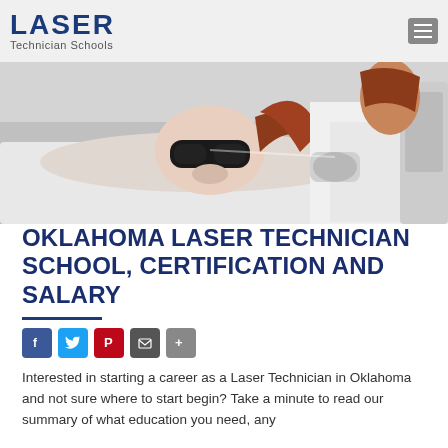Laser Technician Schools
[Figure (photo): A woman lying on a treatment bed wearing protective eye goggles receives a laser treatment on her face from a technician in a white lab coat.]
OKLAHOMA LASER TECHNICIAN SCHOOL, CERTIFICATION AND SALARY
Interested in starting a career as a Laser Technician in Oklahoma and not sure where to start begin? Take a minute to read our summary of what education you need, any